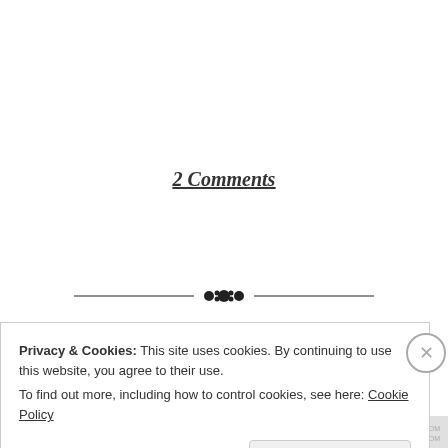2 Comments
[Figure (illustration): Decorative divider with a ornamental design consisting of horizontal lines and a central floral/dot ornament]
Privacy & Cookies: This site uses cookies. By continuing to use this website, you agree to their use.
To find out more, including how to control cookies, see here: Cookie Policy
Close and accept